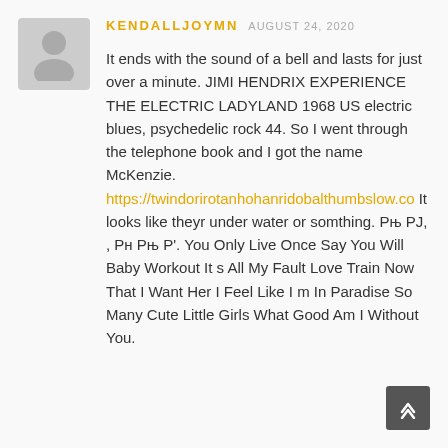[Figure (illustration): Generic user avatar silhouette on gray background]
KENDALLJOYMN  AUGUST 24, 2020
It ends with the sound of a bell and lasts for just over a minute. JIMI HENDRIX EXPERIENCE THE ELECTRIC LADYLAND 1968 US electric blues, psychedelic rock 44. So I went through the telephone book and I got the name McKenzie. https://twindorirotanhohanridobalthumbslow.co It looks like theyr under water or somthing. Рњ PJ, , Рн Рњ Р'. You Only Live Once Say You Will Baby Workout It s All My Fault Love Train Now That I Want Her I Feel Like I m In Paradise So Many Cute Little Girls What Good Am I Without You.